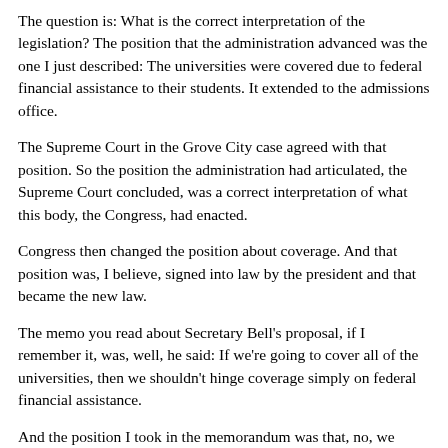The question is: What is the correct interpretation of the legislation? The position that the administration advanced was the one I just described: The universities were covered due to federal financial assistance to their students. It extended to the admissions office.
The Supreme Court in the Grove City case agreed with that position. So the position the administration had articulated, the Supreme Court concluded, was a correct interpretation of what this body, the Congress, had enacted.
Congress then changed the position about coverage. And that position was, I believe, signed into law by the president and that became the new law.
The memo you read about Secretary Bell's proposal, if I remember it, was, well, he said: If we're going to cover all of the universities, then we shouldn't hinge coverage simply on federal financial assistance.
And the position I took in the memorandum was that, no, we should not revisit that question. We should not revisit the question that federal financial assistance triggers coverage.
KENNEDY: Well, and as I familiar... I know the case where I...